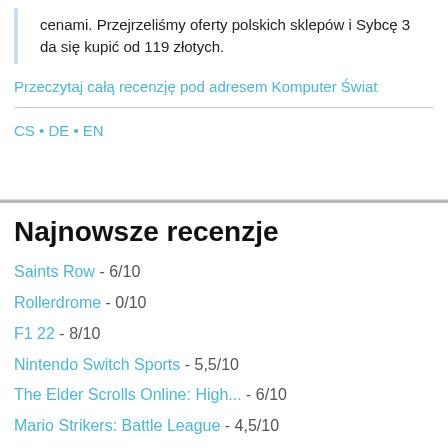cenami. Przejrzeliśmy oferty polskich sklepów i Sybcę 3 da się kupić od 119 złotych.
Przeczytaj całą recenzję pod adresem Komputer Świat
CS · DE · EN
Najnowsze recenzje
Saints Row - 6/10
Rollerdrome - 0/10
F1 22 - 8/10
Nintendo Switch Sports - 5,5/10
The Elder Scrolls Online: High... - 6/10
Mario Strikers: Battle League - 4,5/10
Diablo: Immortal - 9/10
Sniper Elite 5 - 7,5/10
Lego Star Wars: The Skywalker Saga - 8/10